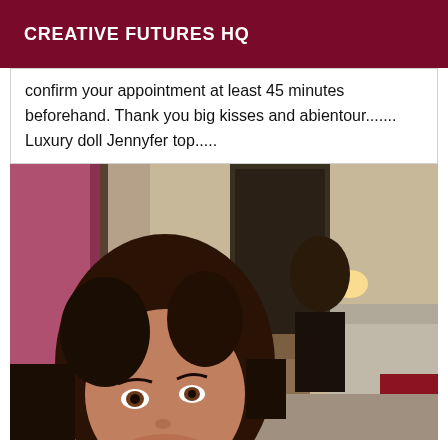CREATIVE FUTURES HQ
confirm your appointment at least 45 minutes beforehand. Thank you big kisses and abientour....... Luxury doll Jennyfer top.....
[Figure (photo): A woman with dark curly hair taking a selfie in a room with a mirror, sofa, and curtains visible in the background.]